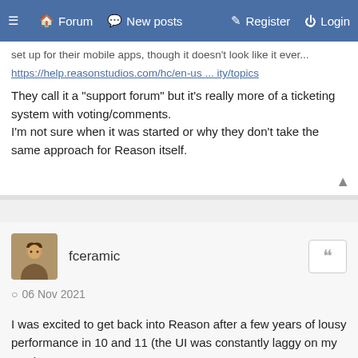≡  🏠 Forum  💬 New posts    ✎ Register  ⏻ Login
set up for their mobile apps, though it doesn't look like it ever...
https://help.reasonstudios.com/hc/en-us ... ity/topics
They call it a "support forum" but it's really more of a ticketing system with voting/comments.
I'm not sure when it was started or why they don't take the same approach for Reason itself.
fceramic
06 Nov 2021
I was excited to get back into Reason after a few years of lousy performance in 10 and 11 (the UI was constantly laggy on my Mac).
While things run smoother it's still a mess. This does not feel like a premium at all. I have audio driver issues, pops, stutters,